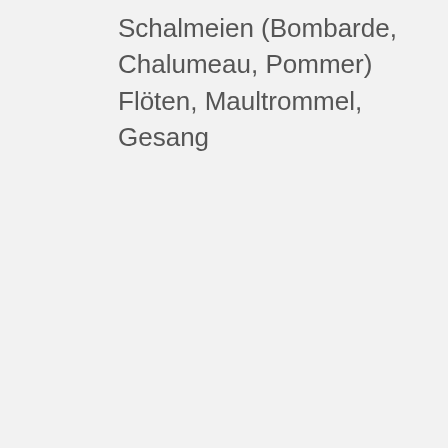Schalmeien (Bombarde, Chalumeau, Pommer) Flöten, Maultrommel, Gesang